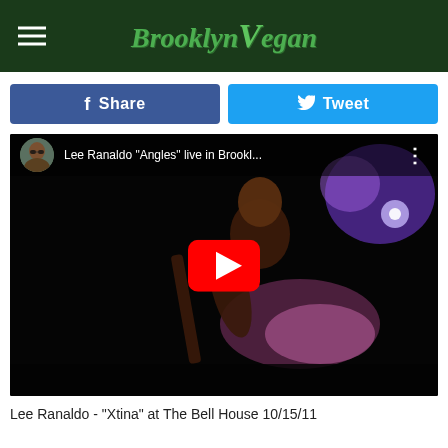BrooklynVegan
[Figure (screenshot): YouTube video embed showing Lee Ranaldo performing live with a guitar on stage under purple stage lighting. Video title bar reads: Lee Ranaldo "Angles" live in Brookl... with a play button overlay.]
Lee Ranaldo - "Xtina" at The Bell House 10/15/11